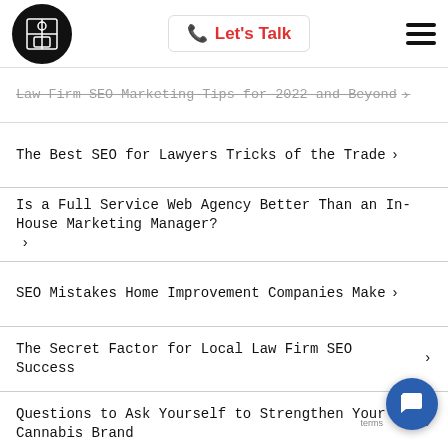Let's Talk
Law Firm SEO Marketing Tips for 2022 and Beyond >
The Best SEO for Lawyers Tricks of the Trade >
Is a Full Service Web Agency Better Than an In-House Marketing Manager? >
SEO Mistakes Home Improvement Companies Make >
The Secret Factor for Local Law Firm SEO Success >
Questions to Ask Yourself to Strengthen Your Cannabis Brand >
What to Avoid in a Personal Injury Lawyer SEO Agency >
Is Law Firm Search Engine Optimization Effective in Boosting Your Law Firm's Rankings? >